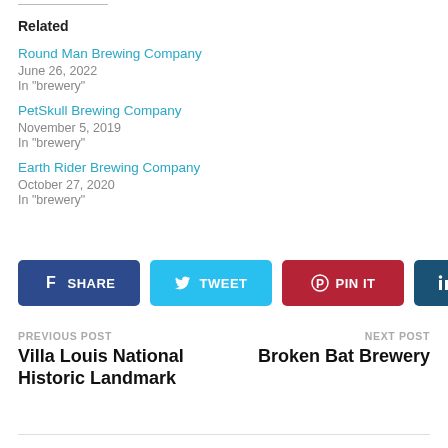Related
Round Man Brewing Company
June 26, 2022
In "brewery"
PetSkull Brewing Company
November 5, 2019
In "brewery"
Earth Rider Brewing Company
October 27, 2020
In "brewery"
[Figure (infographic): Social share buttons: Facebook SHARE, Twitter TWEET, Pinterest PIN IT, LinkedIn SHARE]
PREVIOUS POST
Villa Louis National Historic Landmark
NEXT POST
Broken Bat Brewery